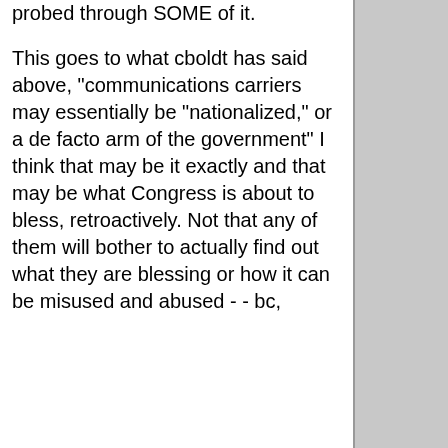probed through SOME of it.
This goes to what cboldt has said above, "communications carriers may essentially be "nationalized," or a de facto arm of the government" I think that may be it exactly and that may be what Congress is about to bless, retroactively. Not that any of them will bother to actually find out what they are blessing or how it can be misused and abused - - bc,